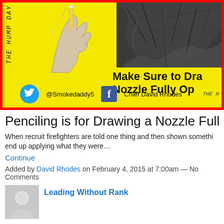[Figure (illustration): Yellow banner image with red border showing a hand holding a pencil on the left, a dark charcoal/trash bag illustration on the right, vertical text reading 'THE HUMP DAY' on the left edge, text 'Make Sure to Dra Nozzle Fully Op' in the center-right, social media handles '@Smokedaddy5' and 'Chief David Rhodes', and 'THE H' watermark at bottom right.]
Penciling is for Drawing a Nozzle Fully
When recruit firefighters are told one thing and then shown somethi end up applying what they were…
Continue
Added by David Rhodes on February 4, 2015 at 7:00am — No Comments
Leading Without Rank